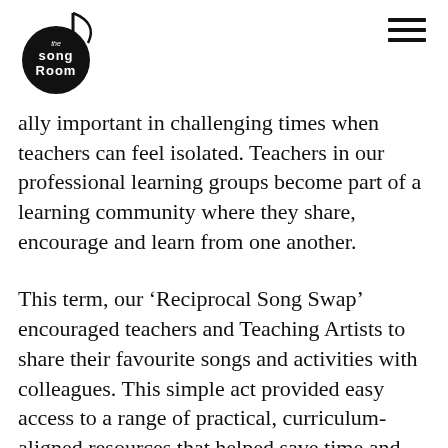The Song Room
ally important in challenging times when teachers can feel isolated. Teachers in our professional learning groups become part of a learning community where they share, encourage and learn from one another.
This term, our ‘Reciprocal Song Swap’ encouraged teachers and Teaching Artists to share their favourite songs and activities with colleagues. This simple act provided easy access to a range of practical, curriculum-aligned resources that helped save time and provided easily implementable lesson activities to busy